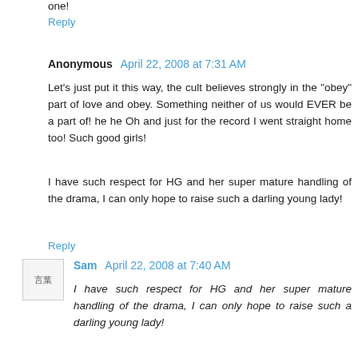one!
Reply
Anonymous  April 22, 2008 at 7:31 AM
Let's just put it this way, the cult believes strongly in the "obey" part of love and obey. Something neither of us would EVER be a part of! he he Oh and just for the record I went straight home too! Such good girls!
I have such respect for HG and her super mature handling of the drama, I can only hope to raise such a darling young lady!
Reply
Sam  April 22, 2008 at 7:40 AM
I have such respect for HG and her super mature handling of the drama, I can only hope to raise such a darling young lady!